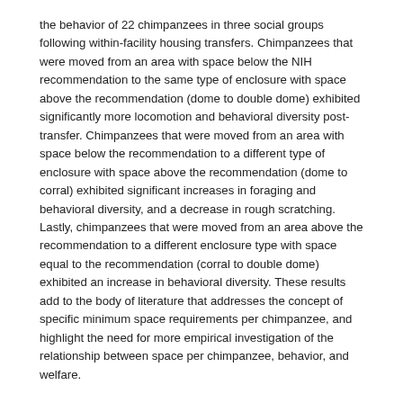the behavior of 22 chimpanzees in three social groups following within-facility housing transfers. Chimpanzees that were moved from an area with space below the NIH recommendation to the same type of enclosure with space above the recommendation (dome to double dome) exhibited significantly more locomotion and behavioral diversity post-transfer. Chimpanzees that were moved from an area with space below the recommendation to a different type of enclosure with space above the recommendation (dome to corral) exhibited significant increases in foraging and behavioral diversity, and a decrease in rough scratching. Lastly, chimpanzees that were moved from an area above the recommendation to a different enclosure type with space equal to the recommendation (corral to double dome) exhibited an increase in behavioral diversity. These results add to the body of literature that addresses the concept of specific minimum space requirements per chimpanzee, and highlight the need for more empirical investigation of the relationship between space per chimpanzee, behavior, and welfare.
Year
2018